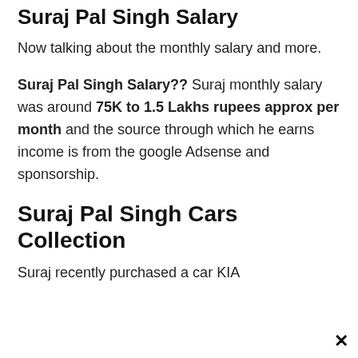Suraj Pal Singh Salary
Now talking about the monthly salary and more.
Suraj Pal Singh Salary?? Suraj monthly salary was around 75K to 1.5 Lakhs rupees approx per month and the source through which he earns income is from the google Adsense and sponsorship.
Suraj Pal Singh Cars Collection
Suraj recently purchased a car KIA